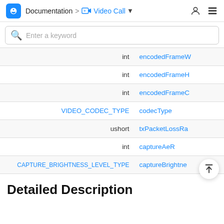Documentation > Video Call
| Type | Name |
| --- | --- |
| int | encodedFrameW... |
| int | encodedFrameH... |
| int | encodedFrameC... |
| VIDEO_CODEC_TYPE | codecType |
| ushort | txPacketLossRa... |
| int | captureA...eR... |
| CAPTURE_BRIGHTNESS_LEVEL_TYPE | captureBrightne... |
Detailed Description